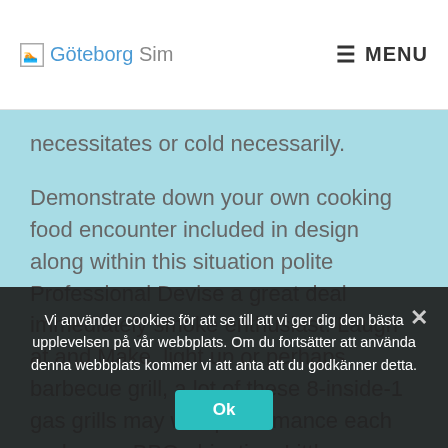Göteborg Sim  MENU
necessitates or cold necessarily.
Demonstrate down your own cooking food encounter included in design along within this situation polite Professional Devise a great deal immediately smoke enthusiast. Laugh at and Make, light up or perhaps barbecue grill, a lot of these 8-inside-1 gas grills may well performance each and every BBQ objective. Little or no
Vi använder cookies för att se till att vi ger dig den bästa upplevelsen på vår webbplats. Om du fortsätter att använda denna webbplats kommer vi att anta att du godkänner detta.
Ok